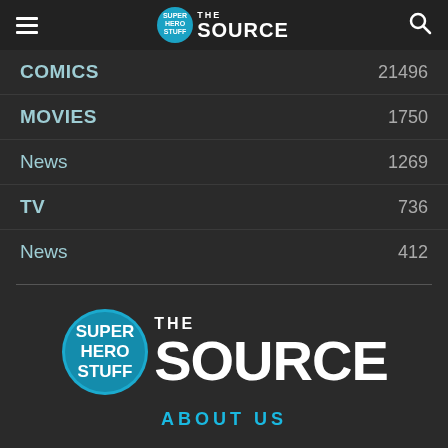SuperHeroStuff THE SOURCE
COMICS 21496
MOVIES 1750
News 1269
TV 736
News 412
[Figure (logo): SuperHeroStuff THE SOURCE large footer logo]
ABOUT US